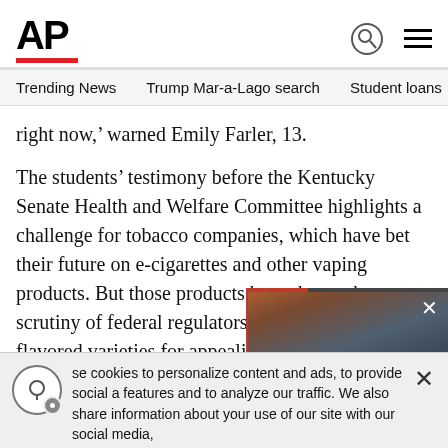[Figure (logo): AP (Associated Press) logo in bold black text with red underline bar]
Trending News   Trump Mar-a-Lago search   Student loans   U.S
right now,' warned Emily Farler, 13.
The students' testimony before the Kentucky Senate Health and Welfare Committee highlights a challenge for tobacco companies, which have bet their future on e-cigarettes and other vaping products. But those products have drawn the scrutiny of federal regulators, who blame their flavored varieties for appealing to teens, halting what had been a steady decline in youth smoking rates.
[Figure (screenshot): Video player overlay showing a cloudy sky scene with pause button, mute button, close (X) button, red progress bar at top, and 'NASA scrubs' caption at bottom with red bar]
se cookies to personalize content and ads, to provide social a features and to analyze our traffic. We also share information about your use of our site with our social media,